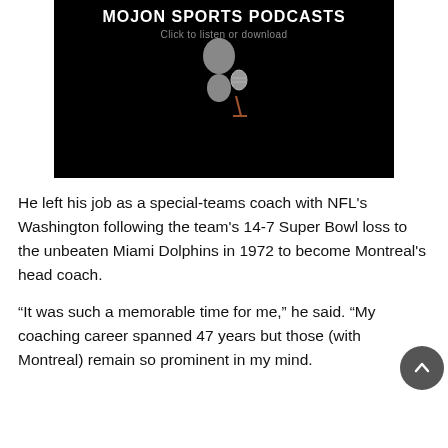[Figure (screenshot): Dark/black podcast banner image with white bold text 'MOJON SPORTS PODCASTS' and gray subtitle 'Click to listen or download', with a cartoon figure of a person holding a microphone in the center.]
He left his job as a special-teams coach with NFL's Washington following the team's 14-7 Super Bowl loss to the unbeaten Miami Dolphins in 1972 to become Montreal's head coach.
“It was such a memorable time for me,” he said. “My coaching career spanned 47 years but those (with Montreal) remain so prominent in my mind.